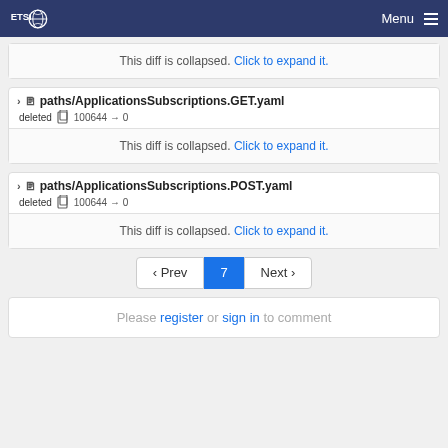ETSI Menu
This diff is collapsed. Click to expand it.
paths/ApplicationsSubscriptions.GET.yaml
deleted 100644 → 0
This diff is collapsed. Click to expand it.
paths/ApplicationsSubscriptions.POST.yaml
deleted 100644 → 0
This diff is collapsed. Click to expand it.
‹ Prev 7 Next ›
Please register or sign in to comment